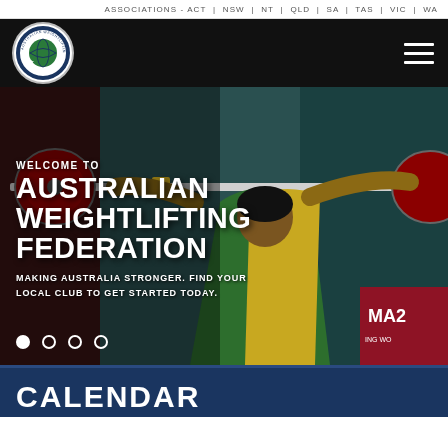ASSOCIATIONS - ACT | NSW | NT | QLD | SA | TAS | VIC | WA
[Figure (logo): Australian Weightlifting Federation circular logo with stars and globe design]
[Figure (photo): Female weightlifter in green and yellow Australian uniform lifting barbell overhead at competition, with red bumper plates and competition banners in background]
WELCOME TO
AUSTRALIAN WEIGHTLIFTING FEDERATION
MAKING AUSTRALIA STRONGER. FIND YOUR LOCAL CLUB TO GET STARTED TODAY.
CALENDAR